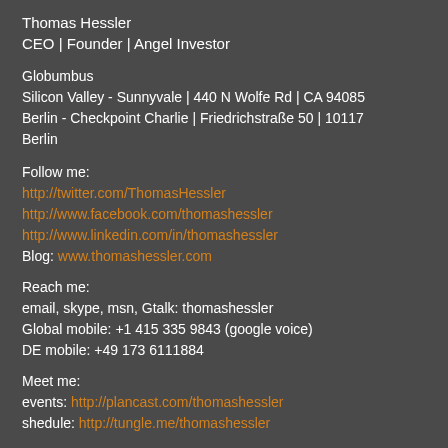Thomas Hessler
CEO | Founder | Angel Investor
Globumbus
Silicon Valley - Sunnyvale | 440 N Wolfe Rd | CA 94085
Berlin - Checkpoint Charlie | Friedrichstraße 50 | 10117 Berlin
Follow me:
http://twitter.com/ThomasHessler
http://www.facebook.com/thomashessler
http://www.linkedin.com/in/thomashessler
Blog: www.thomashessler.com
Reach me:
email, skype, msn, Gtalk: thomashessler
Global mobile: +1 415 335 9843 (google voice)
DE mobile: +49 173 6111884
Meet me:
events: http://plancast.com/thomashessler
shedule: http://tungle.me/thomashessler